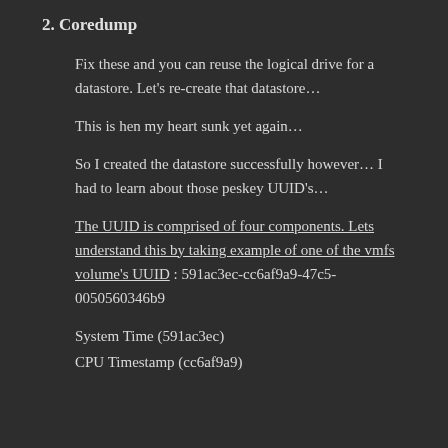2. Coredump
Fix these and you can reuse the logical drive for a datastore. Let’s re-create that datastore…
This is hen my heart sunk yet again…
So I created the datastore successfully however… I had to learn about those peskey UUID’s…
The UUID is comprised of four components. Lets understand this by taking example of one of the vmfs volume’s UUID : 591ac3ec-cc6af9a9-47c5-0050560346b9
System Time (591ac3ec)
CPU Timestamp (cc6af9a9)